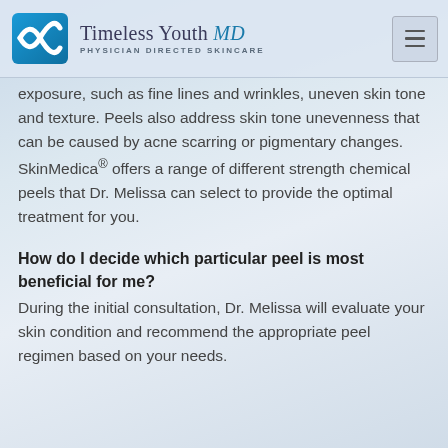Timeless Youth MD — PHYSICIAN DIRECTED SKINCARE
exposure, such as fine lines and wrinkles, uneven skin tone and texture. Peels also address skin tone unevenness that can be caused by acne scarring or pigmentary changes. SkinMedica® offers a range of different strength chemical peels that Dr. Melissa can select to provide the optimal treatment for you.
How do I decide which particular peel is most beneficial for me?
During the initial consultation, Dr. Melissa will evaluate your skin condition and recommend the appropriate peel regimen based on your needs.